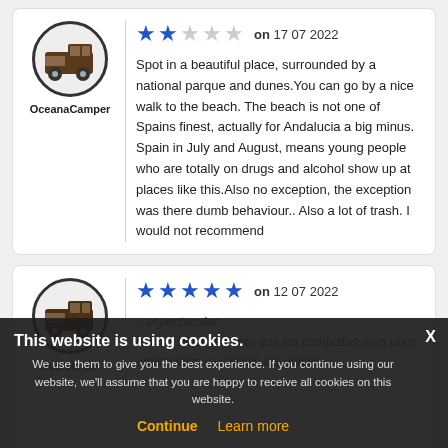OceanaCamper
on 17 07 2022
Spot in a beautiful place, surrounded by a national parque and dunes.You can go by a nice walk to the beach. The beach is not one of Spains finest, actually for Andalucia a big minus. Spain in July and August, means young people who are totally on drugs and alcohol show up at places like this.Also no exception, the exception was there dumb behaviour.. Also a lot of trash. I would not recommend
on 12 07 2022
This website is using cookies. We use them to give you the best experience. If you continue using our website, we'll assume that you are happy to receive all cookies on this website.
Continue
Learn more